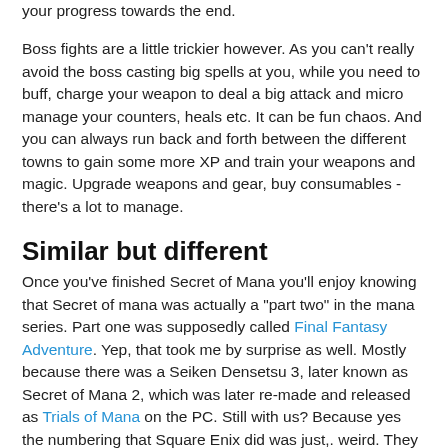your progress towards the end.
Boss fights are a little trickier however. As you can't really avoid the boss casting big spells at you, while you need to buff, charge your weapon to deal a big attack and micro manage your counters, heals etc. It can be fun chaos. And you can always run back and forth between the different towns to gain some more XP and train your weapons and magic. Upgrade weapons and gear, buy consumables - there's a lot to manage.
Similar but different
Once you've finished Secret of Mana you'll enjoy knowing that Secret of mana was actually a "part two" in the mana series. Part one was supposedly called Final Fantasy Adventure. Yep, that took me by surprise as well. Mostly because there was a Seiken Densetsu 3, later known as Secret of Mana 2, which was later re-made and released as Trials of Mana on the PC. Still with us? Because yes the numbering that Square Enix did was just,. weird. They also did a Legend of Mana on PlayStation and also recently got a remade for PC. And beyond that there was Children of